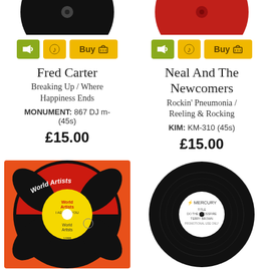[Figure (photo): Top half of black vinyl record]
[Figure (photo): Top half of red vinyl record]
sound button, info button, Buy button
sound button, info button, Buy button
Fred Carter
Breaking Up / Where Happiness Ends
MONUMENT: 867 DJ m- (45s)
£15.00
Neal And The Newcomers
Rockin' Pneumonia / Reeling & Rocking
KIM: KM-310 (45s)
£15.00
[Figure (photo): World Artists vinyl record with yellow label showing 'I Adore You' by Tiny Tim, record number 1088]
[Figure (photo): Black Mercury vinyl record with white label showing 'Do The Crossfire' by Terry Brown]